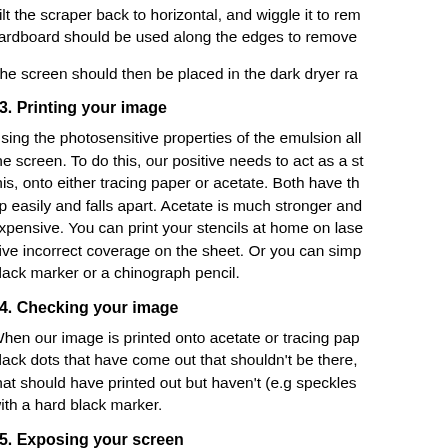Tilt the scraper back to horizontal, and wiggle it to remove cardboard should be used along the edges to remove
The screen should then be placed in the dark dryer ra
#3. Printing your image
Using the photosensitive properties of the emulsion all the screen. To do this, our positive needs to act as a st this, onto either tracing paper or acetate. Both have th rip easily and falls apart. Acetate is much stronger and expensive. You can print your stencils at home on lase give incorrect coverage on the sheet. Or you can simp black marker or a chinograph pencil.
#4. Checking your image
When our image is printed onto acetate or tracing pap black dots that have come out that shouldn't be there, that should have printed out but haven't (e.g speckles with a hard black marker.
#5. Exposing your screen
Once your screen has dried, the next job is to print you